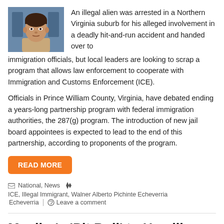[Figure (photo): Mugshot-style photo of a young man facing forward, neutral expression, dark hair]
An illegal alien was arrested in a Northern Virginia suburb for his alleged involvement in a deadly hit-and-run accident and handed over to immigration officials, but local leaders are looking to scrap a program that allows law enforcement to cooperate with Immigration and Customs Enforcement (ICE).
Officials in Prince William County, Virginia, have debated ending a years-long partnership program with federal immigration authorities, the 287(g) program. The introduction of new jail board appointees is expected to lead to the end of this partnership, according to proponents of the program.
READ MORE
National, News   ICE, Illegal Immigrant, Walner Alberto Pichinte Echeverria   Leave a comment
Mueller's 'Pit Bull' to Headline Fundraiser